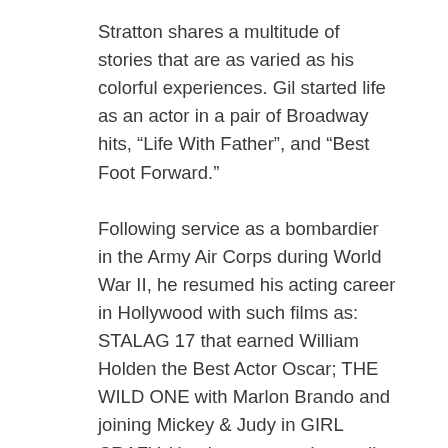Stratton shares a multitude of stories that are as varied as his colorful experiences.  Gil started life as an actor in a pair of Broadway hits, “Life With Father”, and “Best Foot Forward.”
Following service as a bombardier in the Army Air Corps during World War II, he resumed his acting career in Hollywood with such films as: STALAG 17 that earned William Holden the Best Actor Oscar; THE WILD ONE with Marlon Brando and joining Mickey & Judy in GIRL CRAZY.  He also appeared on radio in the popular MY LITTLE MARGIE series and on Television as Eddie Mayhoff’s un-athletic son in THAT”S MY BOY.
Stratton entered the TV business in the mid-50’s as Sports Director of KCBS-TV, a second career that